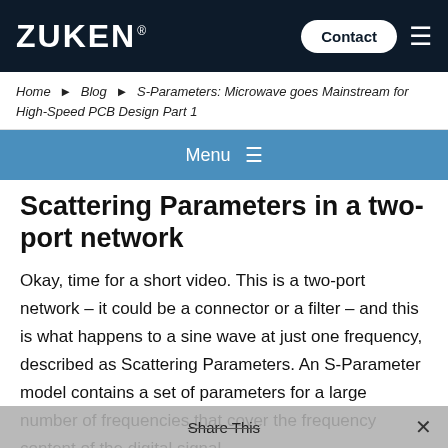ZUKEN
Contact
Home › Blog › S-Parameters: Microwave goes Mainstream for High-Speed PCB Design Part 1
Menu ≡
Scattering Parameters in a two-port network
Okay, time for a short video. This is a two-port network – it could be a connector or a filter – and this is what happens to a sine wave at just one frequency, described as Scattering Parameters. An S-Parameter model contains a set of parameters for a large number of frequencies that cover the frequency content of the digital signal.
Share This ✕